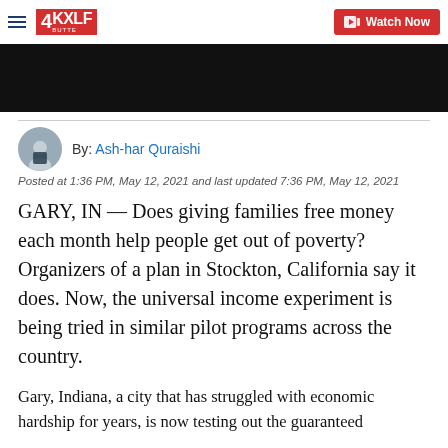4KXLF BUTTE | Watch Now
[Figure (screenshot): Black video thumbnail area]
By: Ash-har Quraishi
Posted at 1:36 PM, May 12, 2021 and last updated 7:36 PM, May 12, 2021
GARY, IN — Does giving families free money each month help people get out of poverty? Organizers of a plan in Stockton, California say it does. Now, the universal income experiment is being tried in similar pilot programs across the country.
Gary, Indiana, a city that has struggled with economic hardship for years, is now testing out the guaranteed